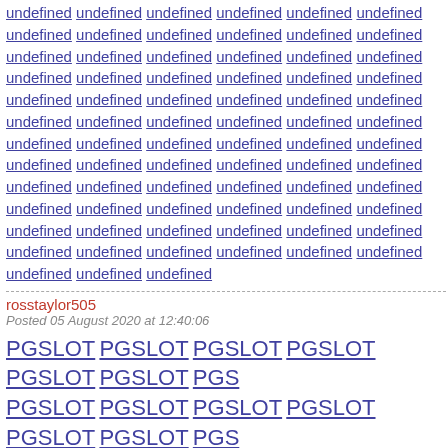undefined undefined undefined undefined undefined undefined undefined undefined undefined undefined undefined undefined undefined undefined undefined undefined undefined undefined undefined undefined undefined undefined undefined undefined undefined undefined undefined undefined undefined undefined undefined undefined undefined undefined undefined undefined undefined undefined undefined undefined undefined undefined undefined undefined undefined undefined undefined undefined undefined undefined undefined undefined undefined undefined undefined undefined undefined undefined undefined undefined undefined undefined undefined undefined undefined undefined undefined undefined undefined undefined undefined undefined undefined undefined undefined undefined undefined undefined undefined undefined undefined
rosstaylor505
Posted 05 August 2020 at 12:40:06
PGSLOT PGSLOT PGSLOT PGSLOT PGSLOT PGSLOT PGSLOT PGSLOT PGSLOT PGSLOT PGSLOT PGSLOT PGSLOT PGSLOT PGSLOT PGSLOT PGSLOT PGSLOT PGSLOT PGSLOT PGSLOT PGSLOT PGSLOT PGSLOT PGSLOT PGSLOT PGSLOT PGSLOT undefined undefined undefined undefined undefined undefined undefined undefined undefined undefined undefined undefined undefined undefined undefined undefined undefined undefined undefined undefined undefined